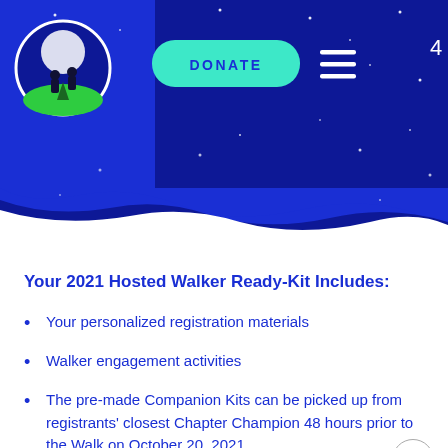[Figure (screenshot): Website header banner with dark blue background, logo circle (silhouettes of two people under a full moon), a teal DONATE button, hamburger menu icon, scattered white star dots, and a wavy bottom edge. Page number '4' in upper right.]
Your 2021 Hosted Walker Ready-Kit Includes:
Your personalized registration materials
Walker engagement activities
The pre-made Companion Kits can be picked up from registrants' closest Chapter Champion 48 hours prior to the Walk on October 20, 2021.
Home Hospice Association invites you